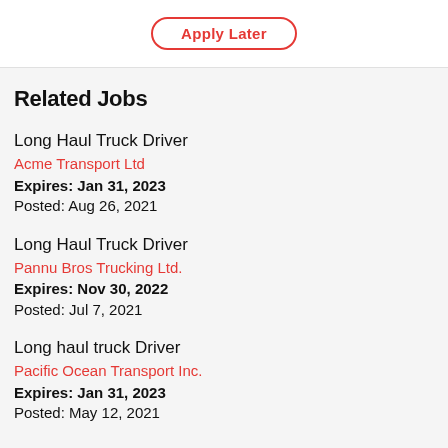Apply Later
Related Jobs
Long Haul Truck Driver
Acme Transport Ltd
Expires: Jan 31, 2023
Posted: Aug 26, 2021
Long Haul Truck Driver
Pannu Bros Trucking Ltd.
Expires: Nov 30, 2022
Posted: Jul 7, 2021
Long haul truck Driver
Pacific Ocean Transport Inc.
Expires: Jan 31, 2023
Posted: May 12, 2021